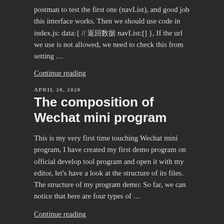postman to test the first one (navList), and good job this interface works. Then we should use code in index.js: data:{ // 返回数据 navList:[] }, If the url we use is not allowed, we need to check this from setting …
Continue reading
APRIL 20, 2020
The composition of Wechat mini program
This is my very first time touching Wechat mini program, I have created my first demo program on official develop tool program and open it with my editor, let's have a look at the structure of its files. The structure of my program demo: So far, we can notice that here are four types of …
Continue reading